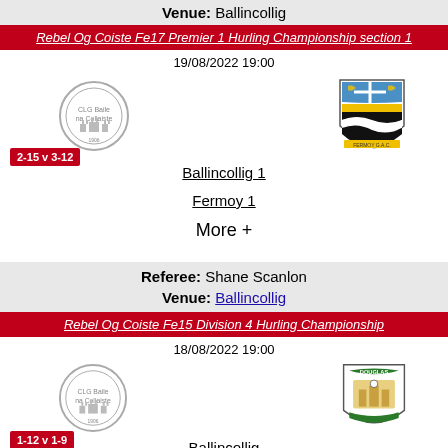Venue: Ballincollig
Rebel Og Coiste Fe17 Premier 1 Hurling Championship section 1
19/08/2022 19:00
[Figure (logo): Ballincollig GAA club crest - circular grey logo]
[Figure (logo): Fermoy GAA club crest - shield with blue, gold, black and white]
2-15 v 3-12
Ballincollig 1
Fermoy 1
More +
Referee: Shane Scanlon
Venue: Ballincollig
Rebel Og Coiste Fe15 Division 4 Hurling Championship
18/08/2022 19:00
[Figure (logo): Ballincollig GAA club crest - circular grey logo]
[Figure (logo): Douglas GAA club crest - shield with green banner]
1-12 v 1-9
Ballincollig
Douglas